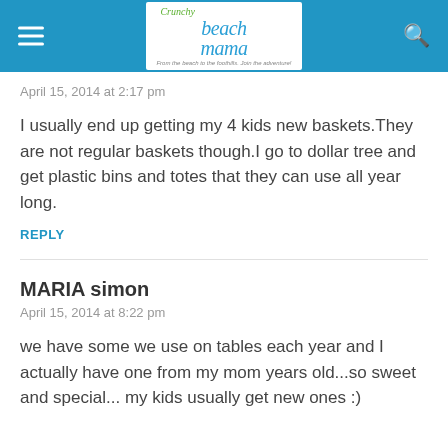[Figure (logo): Crunchy Beach Mama blog logo with tagline 'From the beach to the foothills. Join the adventure!' on a blue header bar with hamburger menu and search icon]
April 15, 2014 at 2:17 pm
I usually end up getting my 4 kids new baskets. They are not regular baskets though. I go to dollar tree and get plastic bins and totes that they can use all year long.
REPLY
MARIA simon
April 15, 2014 at 8:22 pm
we have some we use on tables each year and I actually have one from my mom years old...so sweet and special... my kids usually get new ones :)